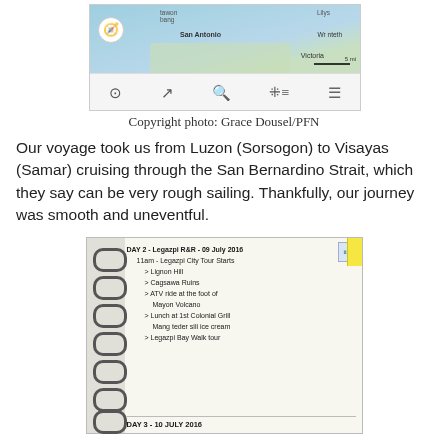[Figure (screenshot): Map screenshot showing San Bernardino Strait area with San Antonio labeled, compass icon, scale bar showing 5 mi, and toolbar with map control icons below.]
Copyright photo: Grace Dousel/PFN
Our voyage took us from Luzon (Sorsogon) to Visayas (Samar) cruising through the San Bernardino Strait, which they say can be very rough sailing. Thankfully, our journey was smooth and uneventful.
[Figure (photo): Photo of a handwritten notebook page showing: DAY 2 - Legazpi R&R - 09 July 2016, 11am - Legazpi City Tour Starts, > Lignon Hill, > Cagsawa Ruins, > ATV ride at the foot of Mayon Volcano, > Lunch at 1st Colonial Grill Mang teder sili ice cream, > Legazpi Bay Walk tour, DAY 3 - 10 JULY 2016]